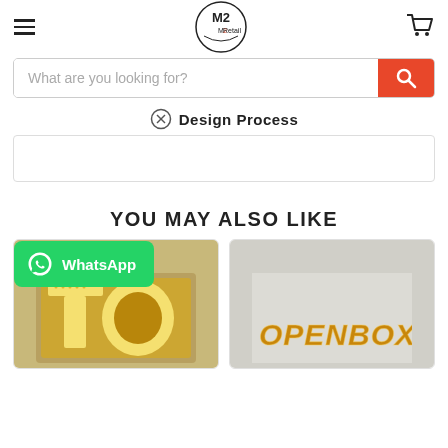M2 Retail — navigation header with hamburger menu, logo, and cart icon
What are you looking for?
Design Process
YOU MAY ALSO LIKE
[Figure (photo): Illuminated perforated gold letter T or O sign product]
[Figure (photo): Illuminated gold OPENBOX channel letter sign product]